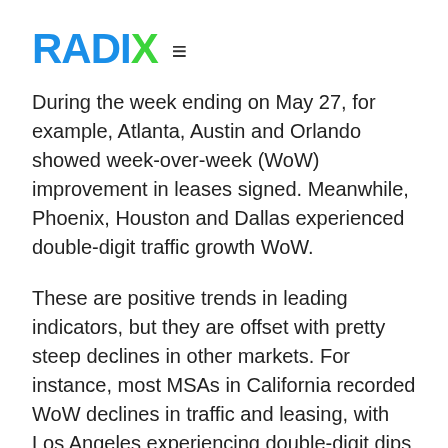RADIX
During the week ending on May 27, for example, Atlanta, Austin and Orlando showed week-over-week (WoW) improvement in leases signed. Meanwhile, Phoenix, Houston and Dallas experienced double-digit traffic growth WoW.
These are positive trends in leading indicators, but they are offset with pretty steep declines in other markets. For instance, most MSAs in California recorded WoW declines in traffic and leasing, with Los Angeles experiencing double-digit dips in both metrics.
Whether this is a direct result of California still